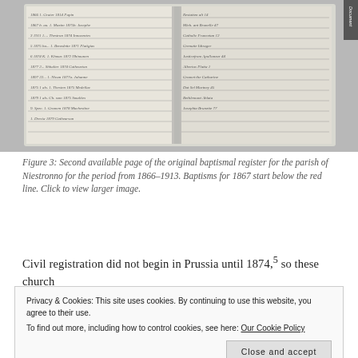[Figure (photo): Black and white photograph of an original handwritten baptismal register page from the parish of Niestronno, 1866-1913, showing rows of cursive handwriting in columns.]
Figure 3: Second available page of the original baptismal register for the parish of Niestronno for the period from 1866–1913. Baptisms for 1867 start below the red line. Click to view larger image.
Civil registration did not begin in Prussia until 1874,5 so these church
Privacy & Cookies: This site uses cookies. By continuing to use this website, you agree to their use.
To find out more, including how to control cookies, see here: Our Cookie Policy
Close and accept